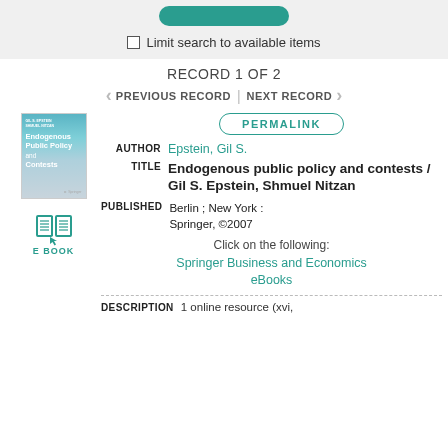Limit search to available items
RECORD 1 OF 2
PREVIOUS RECORD | NEXT RECORD
[Figure (illustration): Book cover for Endogenous Public Policy and Contests by Epstein and Nitzan, Springer]
[Figure (illustration): E-book icon with open book graphic and label E BOOK]
PERMALINK
AUTHOR  Epstein, Gil S.
TITLE  Endogenous public policy and contests / Gil S. Epstein, Shmuel Nitzan
PUBLISHED  Berlin ; New York : Springer, ©2007
Click on the following:
Springer Business and Economics eBooks
DESCRIPTION  1 online resource (xvi,